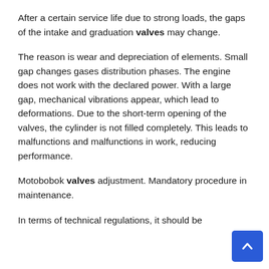After a certain service life due to strong loads, the gaps of the intake and graduation valves may change.
The reason is wear and depreciation of elements. Small gap changes gases distribution phases. The engine does not work with the declared power. With a large gap, mechanical vibrations appear, which lead to deformations. Due to the short-term opening of the valves, the cylinder is not filled completely. This leads to malfunctions and malfunctions in work, reducing performance.
Motobobok valves adjustment. Mandatory procedure in maintenance.
In terms of technical regulations, it should be